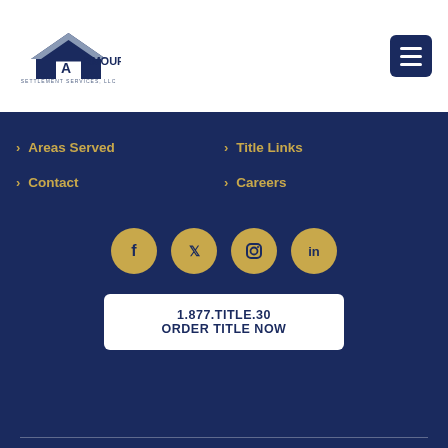[Figure (logo): Armour Settlement Services, LLC logo with house icon]
[Figure (other): Hamburger menu button (dark navy rounded square with three white lines)]
Areas Served
Title Links
Contact
Careers
[Figure (other): Social media icons row: Facebook, Twitter, Instagram, LinkedIn — gold circles on navy background]
1.877.TITLE.30
ORDER TITLE NOW